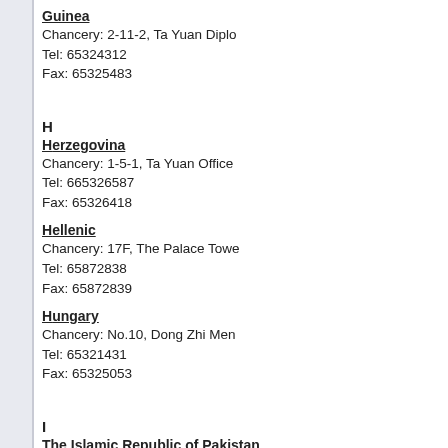Guinea
Chancery: 2-11-2, Ta Yuan Diplo...
Tel: 65324312
Fax: 65325483
H
Herzegovina
Chancery: 1-5-1, Ta Yuan Office...
Tel: 665326587
Fax: 65326418
Hellenic
Chancery: 17F, The Palace Towe...
Tel: 65872838
Fax: 65872839
Hungary
Chancery: No.10, Dong Zhi Men...
Tel: 65321431
Fax: 65325053
I
The Islamic Republic of Pakistan
Chancery: No.1 Dang Zhi Men W...
Tel: 65322504 65322695
Fax: 65322715
Iraq
Chancery: No.25, Xiu Shui Bei Ji...
Tel:6532[2]395...